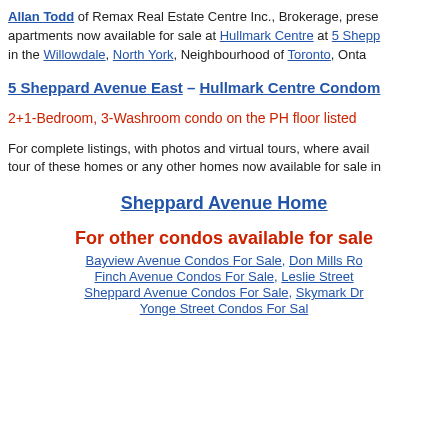Allan Todd of Remax Real Estate Centre Inc., Brokerage, presents apartments now available for sale at Hullmark Centre at 5 Sheppard Avenue East in the Willowdale, North York, Neighbourhood of Toronto, Ontario
5 Sheppard Avenue East – Hullmark Centre Condominiums
2+1-Bedroom, 3-Washroom condo on the PH floor listed...
For complete listings, with photos and virtual tours, where available, tour of these homes or any other homes now available for sale in...
Sheppard Avenue Homes
For other condos available for sale...
Bayview Avenue Condos For Sale, Don Mills Rd...
Finch Avenue Condos For Sale, Leslie Street...
Sheppard Avenue Condos For Sale, Skymark Dr...
Yonge Street Condos For Sale